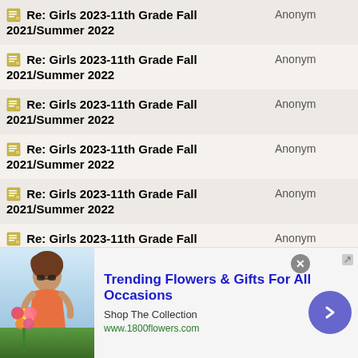| Topic | Author |
| --- | --- |
| Re: Girls 2023-11th Grade Fall 2021/Summer 2022 | Anonym |
| Re: Girls 2023-11th Grade Fall 2021/Summer 2022 | Anonym |
| Re: Girls 2023-11th Grade Fall 2021/Summer 2022 | Anonym |
| Re: Girls 2023-11th Grade Fall 2021/Summer 2022 | Anonym |
| Re: Girls 2023-11th Grade Fall 2021/Summer 2022 | Anonym |
| Re: Girls 2023-11th Grade Fall 2021/Summer 2022 | Anonym |
| Re: Girls 2023-11th Grade Fall 2021/Summer 2022 | Anonym |
| Re: Girls 2023-11th Grade Fall 2021/Summer 2022 | Anonym |
[Figure (infographic): Advertisement banner for 1800flowers.com: Trending Flowers & Gifts For All Occasions with a woman holding flowers and a Shop The Collection CTA button.]